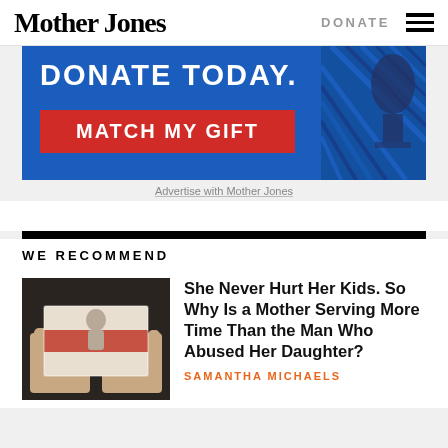Mother Jones  DONATE
[Figure (infographic): Mother Jones donation advertisement banner with blue background. Text reads 'DONATE TODAY.' with a red button 'MATCH MY GIFT'. Partial microphone image on right side.]
Advertise with Mother Jones
WE RECOMMEND
[Figure (photo): Hands holding a photograph showing a child, with a red stripe across the photo.]
She Never Hurt Her Kids. So Why Is a Mother Serving More Time Than the Man Who Abused Her Daughter?
SAMANTHA MICHAELS